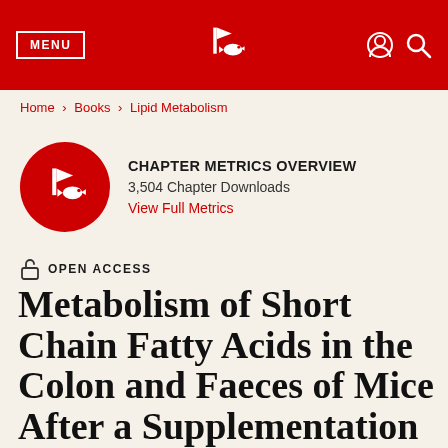MENU | [IntechOpen logo] | [user icon] [search icon]
Home > Books > Lipid Metabolism
[Figure (logo): IntechOpen circular red logo with stylized bird/book mark]
CHAPTER METRICS OVERVIEW
3,504 Chapter Downloads
View Full Metrics
OPEN ACCESS
Metabolism of Short Chain Fatty Acids in the Colon and Faeces of Mice After a Supplementation of Diets